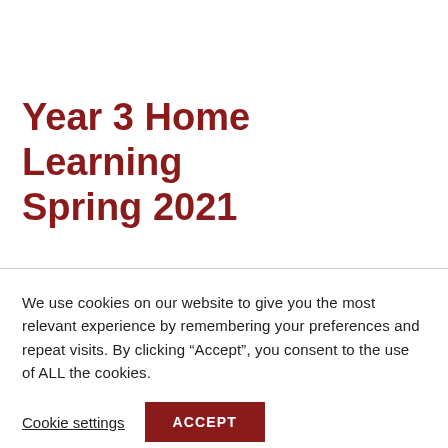Year 3 Home Learning Spring 2021
We use cookies on our website to give you the most relevant experience by remembering your preferences and repeat visits. By clicking “Accept”, you consent to the use of ALL the cookies.
Cookie settings  ACCEPT